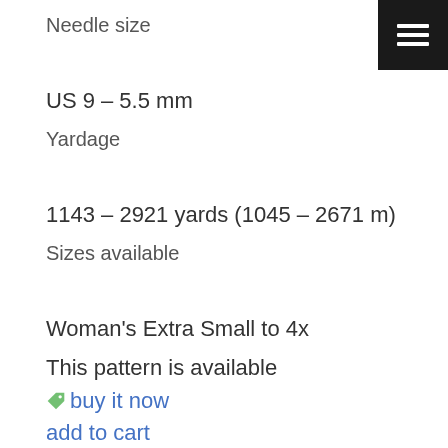Needle size
US 9 – 5.5 mm
Yardage
1143 – 2921 yards (1045 – 2671 m)
Sizes available
Woman's Extra Small to 4x
This pattern is available
🏷 buy it now
add to cart